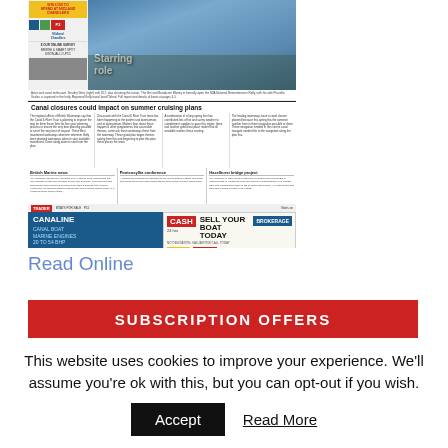[Figure (screenshot): Newspaper front page showing canal boat photo with 'Starring role' headline, article about canal closures, subscription offers and advertisements including Canaline and boat brokerage ads]
Read Online
SUBSCRIPTION OFFERS
This website uses cookies to improve your experience. We'll assume you're ok with this, but you can opt-out if you wish.
Accept
Read More